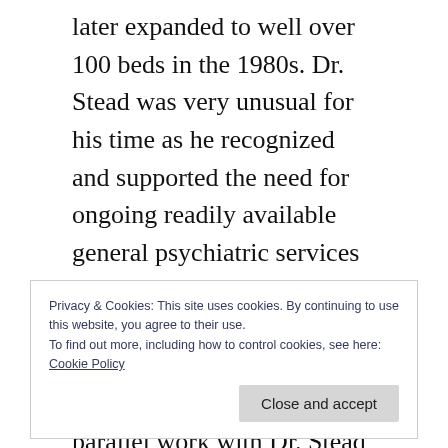later expanded to well over 100 beds in the 1980s. Dr. Stead was very unusual for his time as he recognized and supported the need for ongoing readily available general psychiatric services for the patients in that facility. I was a new young rookie fresh out of residency training when I began my parallel work with Dr. Stead rounding with him at least two half-days a month throughout the facility providing psychiatric care and management. I learned an
Privacy & Cookies: This site uses cookies. By continuing to use this website, you agree to their use.
To find out more, including how to control cookies, see here:
Cookie Policy
RetirementHhome was and still is an incredibly